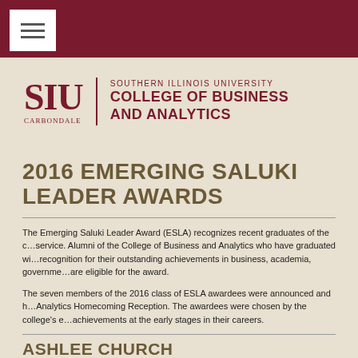SIU Carbondale — Southern Illinois University College of Business and Analytics
2016 EMERGING SALUKI LEADER AWARDS
The Emerging Saluki Leader Award (ESLA) recognizes recent graduates of the college for their distinguished community service. Alumni of the College of Business and Analytics who have graduated within the past 10 years are eligible for recognition for their outstanding achievements in business, academia, government, and/or their communities. Graduates are eligible for the award.
The seven members of the 2016 class of ESLA awardees were announced and honored at the College of Business and Analytics Homecoming Reception. The awardees were chosen by the college's executive advisory board for their achievements at the early stages in their careers.
ASHLEE CHURCH
DeSoto, Illinois
B.S. Management '09
MBA '10
Ashlee Church received her Bachelor of Science in Management in 2009 and her MBA in 2010, both from the College of Business...